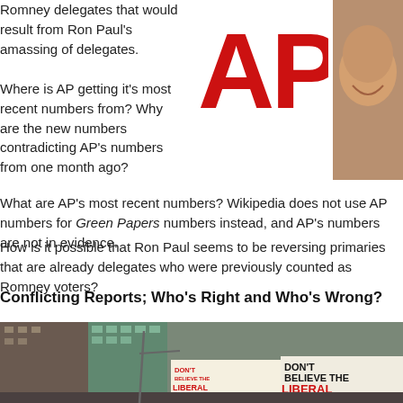Romney delegates that would result from Ron Paul's amassing of delegates.
Where is AP getting it's most recent numbers from? Why are the new numbers contradicting AP's numbers from one month ago?
[Figure (logo): AP (Associated Press) logo in red]
[Figure (photo): Partial view of a person smiling, cropped on the right side]
What are AP's most recent numbers? Wikipedia does not use AP numbers for Green Papers numbers instead, and AP's numbers are not in evidence.
How is it possible that Ron Paul seems to be reversing primaries that are already held and winning delegates who were previously counted as Romney voters?
Conflicting Reports; Who's Right and Who's Wrong?
[Figure (photo): Times Square scene with billboards reading 'DON'T BELIEVE THE LIBERAL MEDIA' and 'MEMPHIS' theater sign]